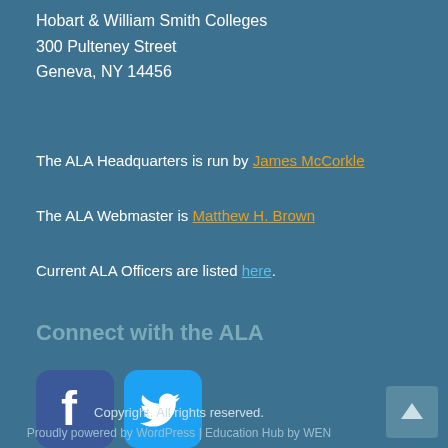Hobart & William Smith Colleges
300 Pulteney Street
Geneva, NY 14456
The ALA Headquarters is run by James McCorkle
The ALA Webmaster is Matthew H. Brown
Current ALA Officers are listed here.
Connect with the ALA
[Figure (logo): Facebook logo icon - blue square with white lowercase f]
[Figure (logo): Twitter logo icon - light blue square with white bird]
Copyright. All rights reserved.
Proudly powered by WordPress | Education Hub by WEN